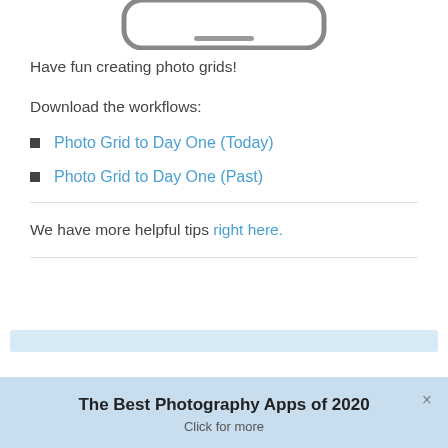[Figure (illustration): Bottom portion of a smartphone/iPhone illustration shown at the top of the page]
Have fun creating photo grids!
Download the workflows:
Photo Grid to Day One (Today)
Photo Grid to Day One (Past)
We have more helpful tips right here.
The Best Photography Apps of 2020
Click for more